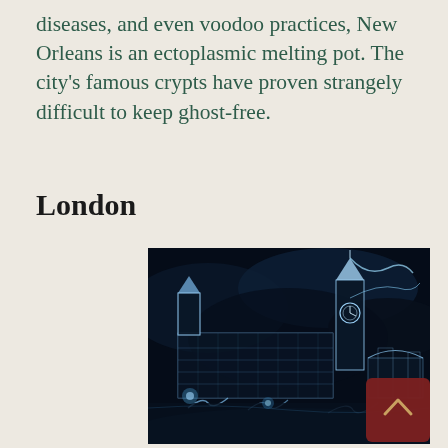diseases, and even voodoo practices, New Orleans is an ectoplasmic melting pot. The city's famous crypts have proven strangely difficult to keep ghost-free.
London
[Figure (photo): A dramatic dark fantasy illustration of the London skyline (Westminster/Big Ben) rendered in glowing blue-white neon/lightning style against a dark stormy sky, with ghostly figures and energy arcs.]